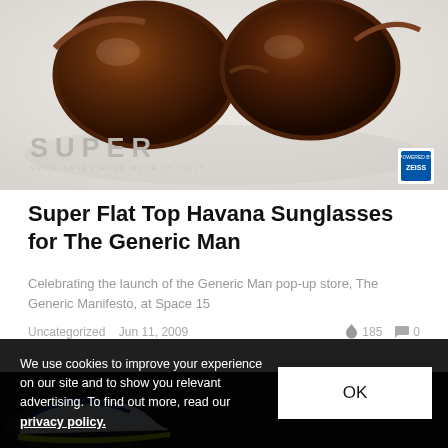[Figure (photo): Product photo of brown Super sunglasses (Flat Top Havana) on a light gray/white background, with SUPER brand text and ZEISS logo visible]
Super Flat Top Havana Sunglasses for The Generic Man
Celebrating the launch of the Generic Man pop-up store, The Generic Manifesto, at Space 15
Uncategorized   Jun 11, 2009   185   0
[Figure (photo): Sneakers on black background — blue, white and neon yellow colorway]
We use cookies to improve your experience on our site and to show you relevant advertising. To find out more, read our privacy policy.